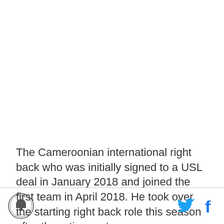The Cameroonian international right back who was initially signed to a USL deal in January 2018 and joined the first team in April 2018. He took over the starting right back role this season after the retirement
[logo] [Twitter icon] [Facebook icon]